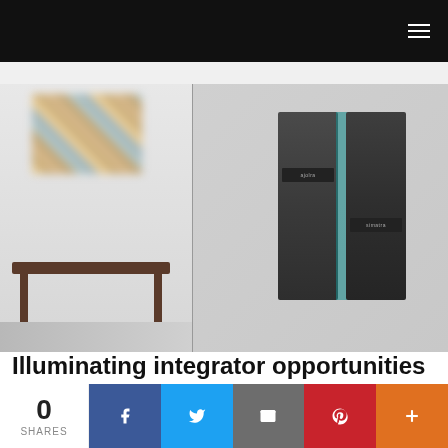Navigation bar with hamburger menu
[Figure (photo): Split hero image: left side shows a blurry room interior with abstract wall art and a dark wooden table; right side shows a dark brushed-metal wall-mounted control panel device with two panels and LED label strips, mounted on a light gray wall.]
Illuminating integrator opportunities
10/05/2022
0 SHARES | Facebook | Twitter | Email | Pinterest | More